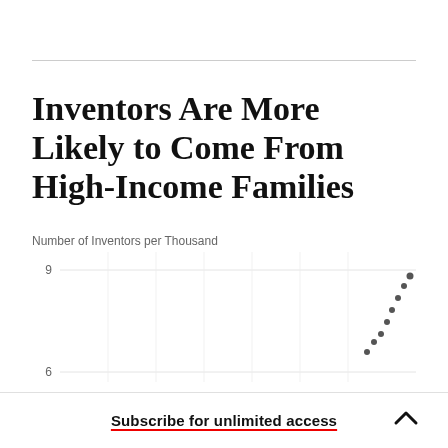Inventors Are More Likely to Come From High-Income Families
[Figure (continuous-plot): Partial scatter/dot plot showing Number of Inventors per Thousand on y-axis (visible range 6–9). Data points visible only in upper-right region, showing an upward trend. X-axis not fully visible. Chart is partially cut off at the bottom.]
Subscribe for unlimited access